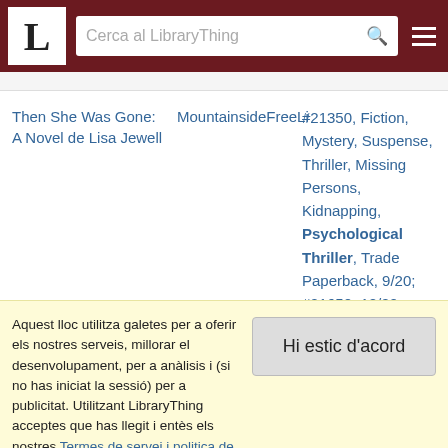LibraryThing header with logo L and search bar 'Cerca al LibraryThing'
Then She Was Gone: A Novel de Lisa Jewell
MountainsideFreeLi
#21350, Fiction, Mystery, Suspense, Thriller, Missing Persons, Kidnapping, Psychological Thriller, Trade Paperback, 9/20; #21650, 12/20; #23373, 8/22
Aquest lloc utilitza galetes per a oferir els nostres serveis, millorar el desenvolupament, per a anàlisis i (si no has iniciat la sessió) per a publicitat. Utilitzant LibraryThing acceptes que has llegit i entès els nostres Termes de servei i politica de privacitat. L'ús que facis del lloc i dels seus serveis està subjecte a aquestes politiques i termes.
Hi estic d'acord